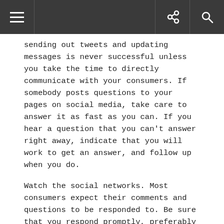sending out tweets and updating messages is never successful unless you take the time to directly communicate with your consumers. If somebody posts questions to your pages on social media, take care to answer it as fast as you can. If you hear a question that you can't answer right away, indicate that you will work to get an answer, and follow up when you do.
Watch the social networks. Most consumers expect their comments and questions to be responded to. Be sure that you respond promptly, preferably no later than a couple of hours. Being responsive will help your business stand out.
Maintain a good image by working to alleviate customer dissatisfaction. Turning a customer's